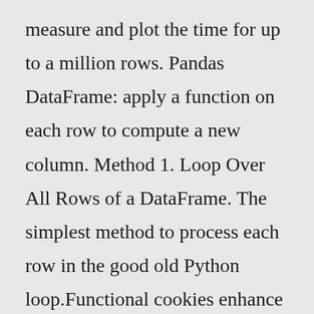measure and plot the time for up to a million rows. Pandas DataFrame: apply a function on each row to compute a new column. Method 1. Loop Over All Rows of a DataFrame. The simplest method to process each row in the good old Python loop.Functional cookies enhance functions, performance, and services on the website. Some examples include: cookies used to analyze site traffic, cookies used for market